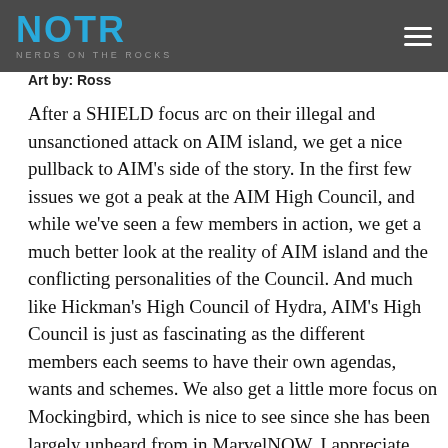NOTR NERDS ON THE ROCKS
Art by: Ross
After a SHIELD focus arc on their illegal and unsanctioned attack on AIM island, we get a nice pullback to AIM's side of the story. In the first few issues we got a peak at the AIM High Council, and while we've seen a few members in action, we get a much better look at the reality of AIM island and the conflicting personalities of the Council. And much like Hickman's High Council of Hydra, AIM's High Council is just as fascinating as the different members each seems to have their own agendas, wants and schemes. We also get a little more focus on Mockingbird, which is nice to see since she has been largely unheard from in MarvelNOW. I appreciate Spencer using her history as part of the story and the emotions that would go along with an agent dealing with the more moral tool